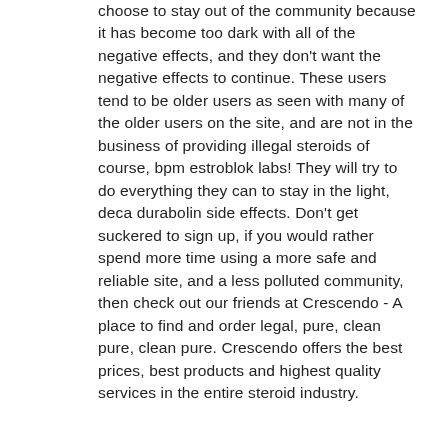choose to stay out of the community because it has become too dark with all of the negative effects, and they don't want the negative effects to continue. These users tend to be older users as seen with many of the older users on the site, and are not in the business of providing illegal steroids of course, bpm estroblok labs! They will try to do everything they can to stay in the light, deca durabolin side effects. Don't get suckered to sign up, if you would rather spend more time using a more safe and reliable site, and a less polluted community, then check out our friends at Crescendo - A place to find and order legal, pure, clean pure, clean pure. Crescendo offers the best prices, best products and highest quality services in the entire steroid industry.